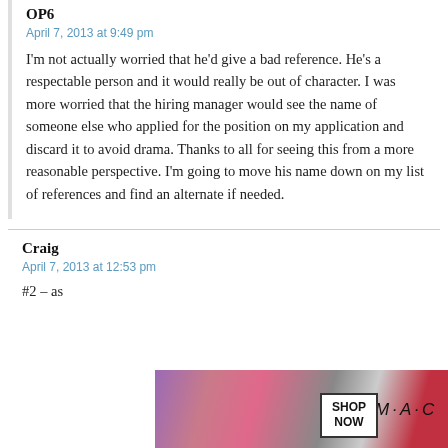OP6
April 7, 2013 at 9:49 pm
I'm not actually worried that he'd give a bad reference. He's a respectable person and it would really be out of character. I was more worried that the hiring manager would see the name of someone else who applied for the position on my application and discard it to avoid drama. Thanks to all for seeing this from a more reasonable perspective. I'm going to move his name down on my list of references and find an alternate if needed.
Craig
April 7, 2013 at 12:53 pm
#2 – as
[Figure (screenshot): Advertisement banner showing MAC lipsticks with SHOP NOW button and CLOSE button overlay]